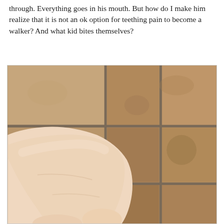through. Everything goes in his mouth. But how do I make him realize that it is not an ok option for teething pain to become a walker? And what kid bites themselves?
[Figure (photo): Close-up photo of a child's hand/arm resting on a tiled floor. The tiles are terracotta/brown ceramic with gray grout lines visible. The skin appears pale and smooth, filling the lower-left portion of the image.]